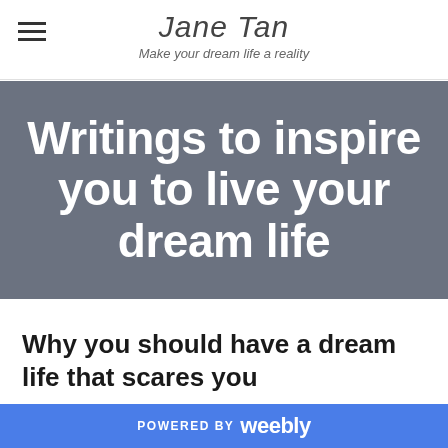Jane Tan — Make your dream life a reality
[Figure (illustration): Hero banner with dark gray background and white bold text reading: Writings to inspire you to live your dream life]
Why you should have a dream life that scares you
2/28/2016   0 COMMENTS
POWERED BY weebly